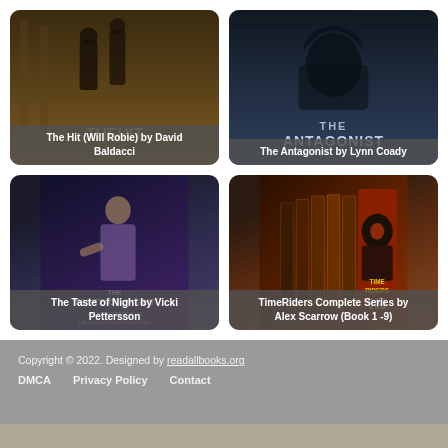[Figure (photo): Book cover: The Hit (Will Robie) by David Baldacci with dark silhouette image]
The Hit (Will Robie) by David Baldacci
[Figure (photo): Book cover: The Antagonist by Lynn Coady with dark hooded figure]
The Antagonist by Lynn Coady
[Figure (photo): Book cover: The Taste of Night by Vicki Pettersson with dark female figure]
The Taste of Night by Vicki Pettersson
[Figure (photo): Book cover set: TimeRiders Complete Series by Alex Scarrow (Book 1-9) showing multiple book spines]
TimeRiders Complete Series by Alex Scarrow (Book 1 -9)
Copyright © 2022. Designed by readallbooks.org
DMCA    Privacy Policy    Contact